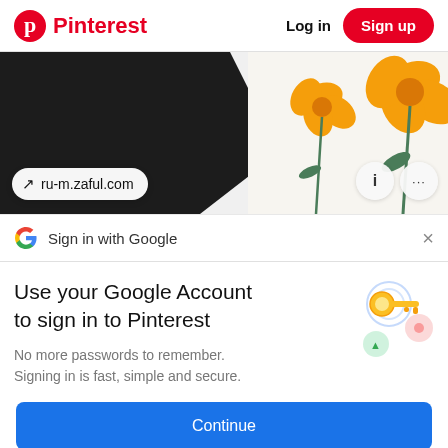Pinterest  Log in  Sign up
[Figure (photo): Product photo showing black fabric/clothing item alongside orange flowers on white background, with a link pill showing ru-m.zaful.com and info/menu buttons]
Sign in with Google
Use your Google Account to sign in to Pinterest
No more passwords to remember. Signing in is fast, simple and secure.
[Figure (illustration): Google key icon illustration with colorful circular elements]
Continue